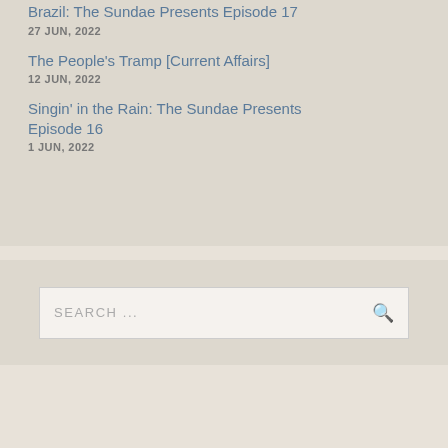Brazil: The Sundae Presents Episode 17
27 JUN, 2022
The People's Tramp [Current Affairs]
12 JUN, 2022
Singin' in the Rain: The Sundae Presents Episode 16
1 JUN, 2022
SEARCH ...